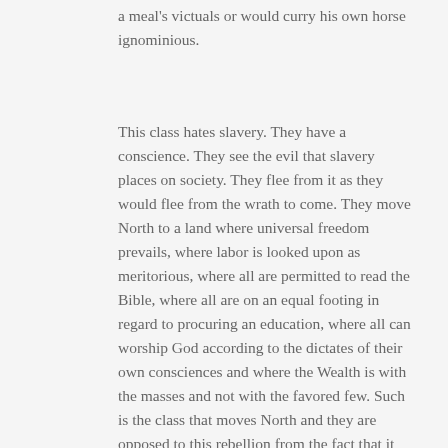a meal's victuals or would curry his own horse ignominious.
This class hates slavery. They have a conscience. They see the evil that slavery places on society. They flee from it as they would flee from the wrath to come. They move North to a land where universal freedom prevails, where labor is looked upon as meritorious, where all are permitted to read the Bible, where all are on an equal footing in regard to procuring an education, where all can worship God according to the dictates of their own consciences and where the Wealth is with the masses and not with the favored few. Such is the class that moves North and they are opposed to this rebellion from the fact that it strikes at the very root of the society that they have moved North in search of and because the South is waging this war to break down free institutions and establish a government with slavery as its base and that the few should lord it over the masses.